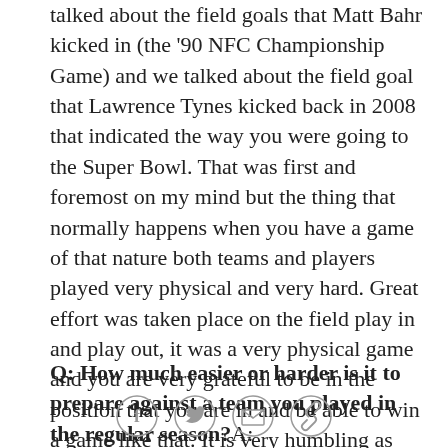talked about the field goals that Matt Bahr kicked in (the '90 NFC Championship Game) and we talked about the field goal that Lawrence Tynes kicked back in 2008 that indicated the way you were going to the Super Bowl. That was first and foremost on my mind but the thing that normally happens when you have a game of that nature both teams and players played very physical and very hard. Great effort was taken place on the field play in and play out, it was a very physical game and you are very grateful to be in the position that you are in and be able to win a game like that. It is very humbling as well to realize that as you have fought your way back into respect if nothing else. Our players have rallied and won five single elimination games in a row.
Q: How much easier or harder is it to prepare against a team you played in the regular season? A:
[Figure (other): Social media sharing icons: Facebook, Twitter, Email, Link/permalink]